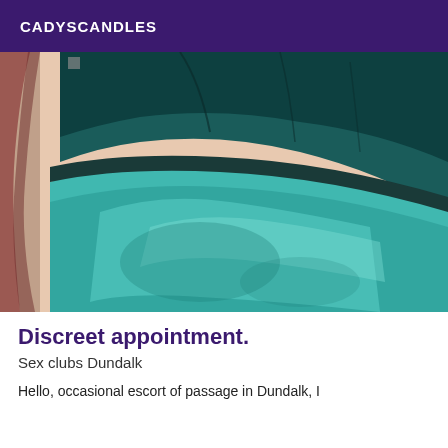CADYSCANDLES
[Figure (photo): Close-up photo showing teal/turquoise fabric and dark green fabric, likely clothing worn by a person, with some reddish hair visible at the edge.]
Discreet appointment.
Sex clubs Dundalk
Hello, occasional escort of passage in Dundalk, I